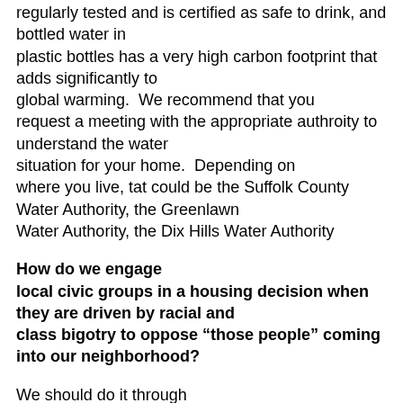regularly tested and is certified as safe to drink, and bottled water in plastic bottles has a very high carbon footprint that adds significantly to global warming.  We recommend that you request a meeting with the appropriate authroity to understand the water situation for your home.  Depending on where you live, tat could be the Suffolk County Water Authority, the Greenlawn Water Authority, the Dix Hills Water Authority
How do we engage local civic groups in a housing decision when they are driven by racial and class bigotry to oppose “those people” coming into our neighborhood?
We should do it through education and engagement.  In recent years the HTHC has made an effort to attend various civic group